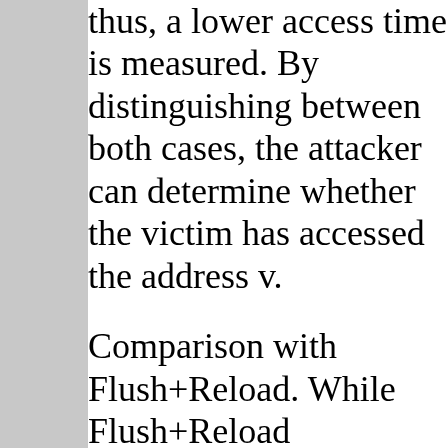thus, a lower access time measured. By distinguishing between both cases, the attacker can determine whether the victim has accessed the address v.
Comparison with Flush+Reload. While Flush+Reload invalidates a cache line from the entire cache hierarchy, Load+Reload only evicts the data for the sibling thread